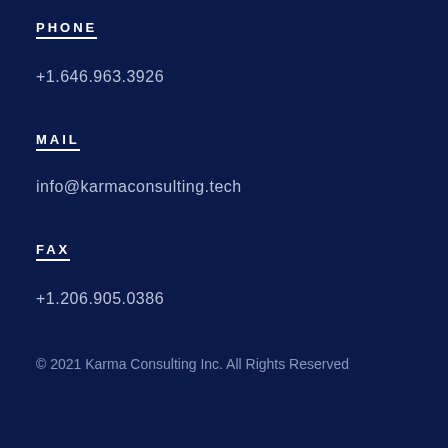PHONE
+1.646.963.3926
MAIL
info@karmaconsulting.tech
FAX
+1.206.905.0386
© 2021 Karma Consulting Inc. All Rights Reserved